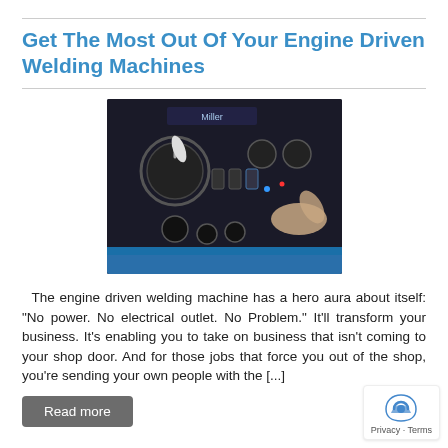Get The Most Out Of Your Engine Driven Welding Machines
[Figure (photo): Close-up photo of a Miller engine driven welding machine control panel with dials, switches, and a person's hand operating a control knob.]
The engine driven welding machine has a hero aura about itself: “No power. No electrical outlet. No Problem.” It’ll transform your business. It’s enabling you to take on business that isn’t coming to your shop door. And for those jobs that force you out of the shop, you’re sending your own people with the [...]
Read more